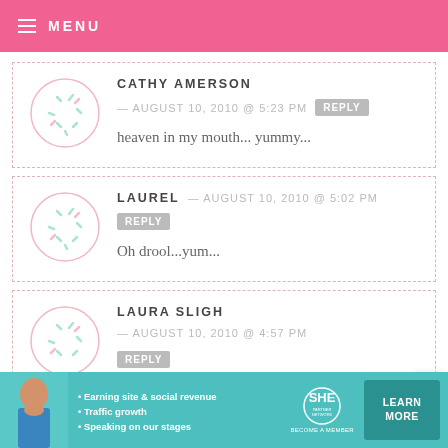MENU
CATHY AMERSON — AUGUST 10, 2010 @ 5:23 PM  REPLY
heaven in my mouth... yummy...
LAUREL — AUGUST 10, 2010 @ 5:02 PM  REPLY
Oh drool...yum...
LAURA SLIGH — AUGUST 10, 2010 @ 4:57 PM  REPLY
[Figure (infographic): SHE Partner Network advertisement banner with teal background, woman photo, bullet points: Earning site & social revenue, Traffic growth, Speaking on our stages. SHE logo and LEARN MORE button.]